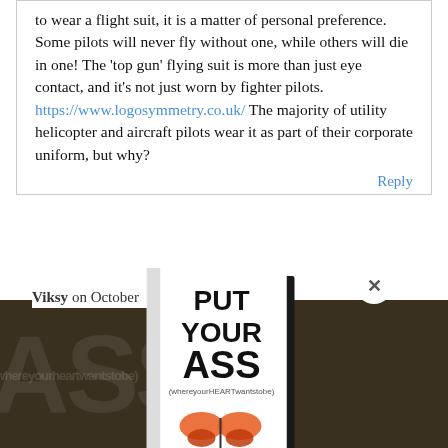to wear a flight suit, it is a matter of personal preference. Some pilots will never fly without one, while others will die in one! The 'top gun' flying suit is more than just eye contact, and it's not just worn by fighter pilots. https://www.logosymmetry.co.uk/ The majority of utility helicopter and aircraft pilots wear it as part of their corporate uniform, but why?
Reply
Viksy on October ... at 13:41 pm
[Figure (illustration): Book cover popup for 'Put Your Ass Where Your Heart Wants to Be' with a close (x) button, shown over a dark background with large text letters. Below the book is a title, subtitle 'In paperback, eBook, and audio', and an orange ORDER NOW! button.]